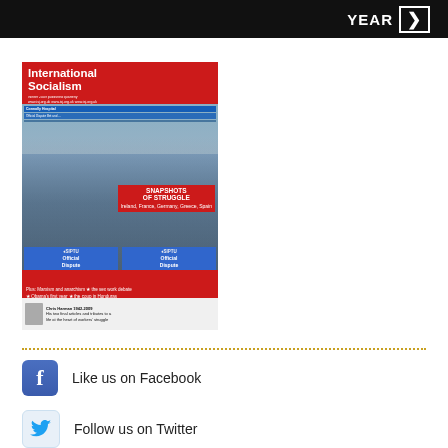YEAR >
[Figure (photo): Cover of International Socialism magazine issue 125, featuring a photo of women protesters holding SIPTU Official Dispute signs, with text overlays: SNAPSHOTS OF STRUGGLE, Ireland, France, Germany, Greece, Spain; Plus: Marxism and anarchism, the sex work debate, Obama's first year, the coup in Honduras. Chris Harman 1942-2009 His two final articles and tributes to a life at the heart of workers' struggle.]
Like us on Facebook
Follow us on Twitter